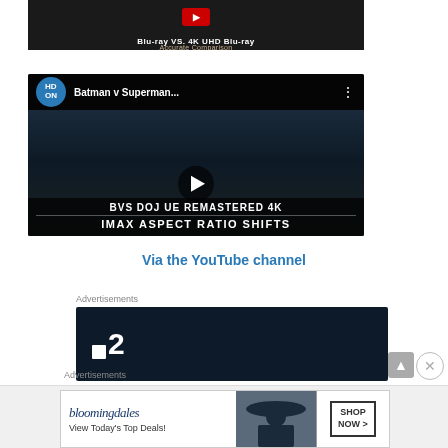[Figure (screenshot): Partial thumbnail of a video comparison about Blu-ray vs 4K UHD Blu-ray with text overlay]
[Figure (screenshot): YouTube video embed showing Batman v Superman BVS DOJ UE Remastered 4K IMAX Aspect Ratio Shifts on HDON channel with play button]
Via the YouTube channel
Advertisements
[Figure (screenshot): Dark advertisement banner showing the number :2 logo on dark navy background]
Advertisements
[Figure (screenshot): Bloomingdales advertisement: View Today's Top Deals! SHOP NOW > with woman in hat]